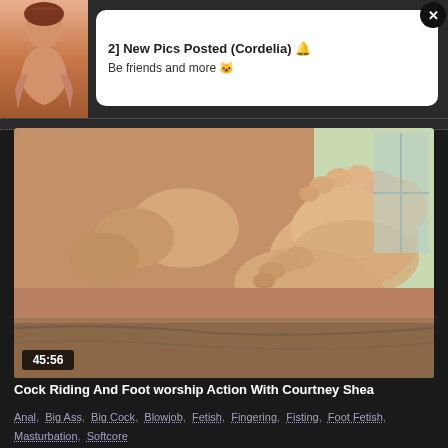[Figure (screenshot): Ad banner with thumbnail of a person and notification card saying '2] New Pics Posted (Cordelia)' with close button]
2] New Pics Posted (Cordelia) 🔔
Be friends and more 🐱
[Figure (photo): Video thumbnail showing feet/legs, duration 45:56]
45:56
Cock Riding And Foot worship Action With Courtney Shea
Anal,  Big Ass,  Big Cock,  Blowjob,  Fetish,  Fingering,  Fisting,  Foot Fetish,  Masturbation,  Softcore